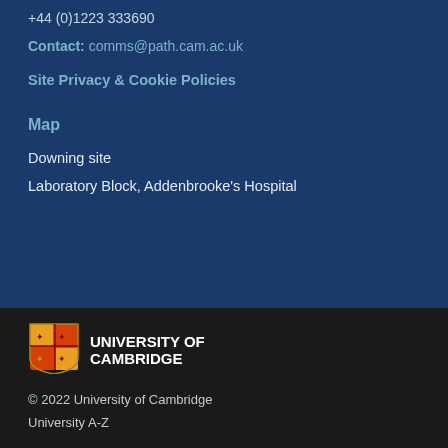+44 (0)1223 333690
Contact: comms@path.cam.ac.uk
Site Privacy & Cookie Policies
Map
Downing site
Laboratory Block, Addenbrooke's Hospital
[Figure (logo): University of Cambridge shield logo]
UNIVERSITY OF CAMBRIDGE
© 2022 University of Cambridge
University A-Z